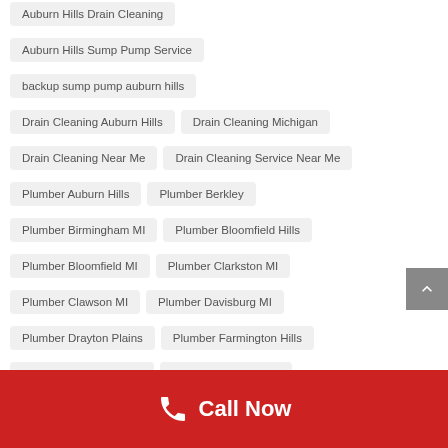Auburn Hills Drain Cleaning
Auburn Hills Sump Pump Service
backup sump pump auburn hills
Drain Cleaning Auburn Hills
Drain Cleaning Michigan
Drain Cleaning Near Me
Drain Cleaning Service Near Me
Plumber Auburn Hills
Plumber Berkley
Plumber Birmingham MI
Plumber Bloomfield Hills
Plumber Bloomfield MI
Plumber Clarkston MI
Plumber Clawson MI
Plumber Davisburg MI
Plumber Drayton Plains
Plumber Farmington Hills
Plumber Farmington MI
Plumber Ferndale MI
Plumber for Clogged Drain Auburn Hills
Plumber Franklin MI
Plumber Huntington Woods
Call Now